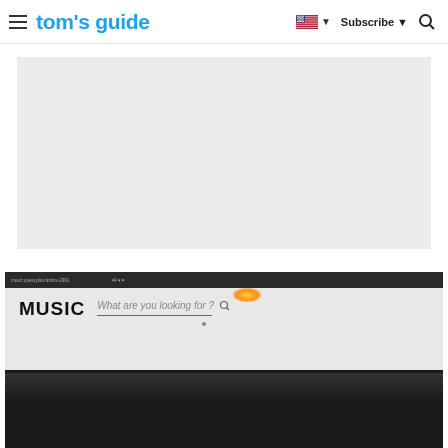tom's guide — Subscribe
[Figure (other): Gray placeholder/advertisement rectangle]
[Figure (screenshot): Screenshot of a music streaming website (possibly Amazon Music) shown on a laptop screen. The browser shows a dark top bar with URL text, and below it a light gray page with the bold text 'MUSIC' on the left and a search bar reading 'What are you looking for?' with a search icon on the right.]